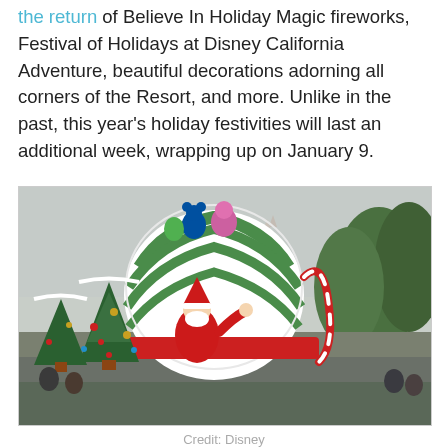the return of Believe In Holiday Magic fireworks, Festival of Holidays at Disney California Adventure, beautiful decorations adorning all corners of the Resort, and more. Unlike in the past, this year's holiday festivities will last an additional week, wrapping up on January 9.
[Figure (photo): A Disneyland holiday parade float showing Santa Claus on a sleigh decorated with Christmas trees, ornaments, and a large green-and-white striped toy bag with Disney characters on top. Cinderella's castle is visible in the background. A 'North Pole' sign is attached to the float.]
Credit: Disney